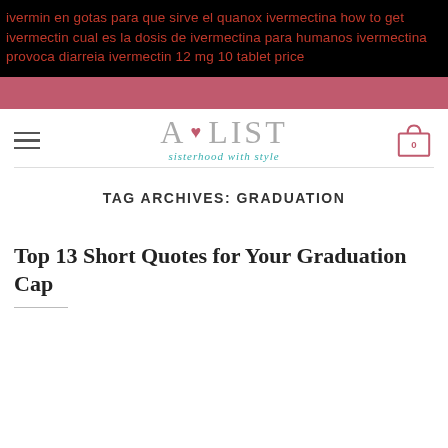ivermin en gotas para que sirve el quanox ivermectina how to get ivermectin cual es la dosis de ivermectina para humanos ivermectina provoca diarreia ivermectin 12 mg 10 tablet price
[Figure (logo): A-LIST logo with heart symbol and tagline 'sisterhood with style']
TAG ARCHIVES: GRADUATION
Top 13 Short Quotes for Your Graduation Cap